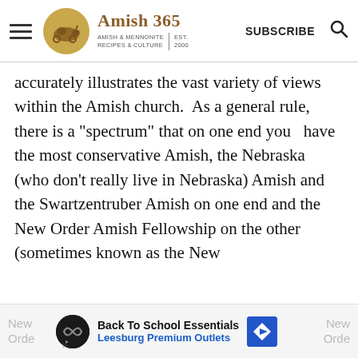Amish 365 | AMISH & MENNONITE RECIPES & CULTURE | EST. 2000 | SUBSCRIBE
accurately illustrates the vast variety of views within the Amish church.  As a general rule, there is a "spectrum" that on one end you  have the most conservative Amish, the Nebraska (who don't really live in Nebraska) Amish and the Swartzentruber Amish on one end and the   New Order Amish Fellowship on the other (sometimes known as the New
[Figure (screenshot): Advertisement banner: Back To School Essentials - Leesburg Premium Outlets, with play button icon and blue diamond arrow icon. Partial text 'New Orde' visible on sides.]